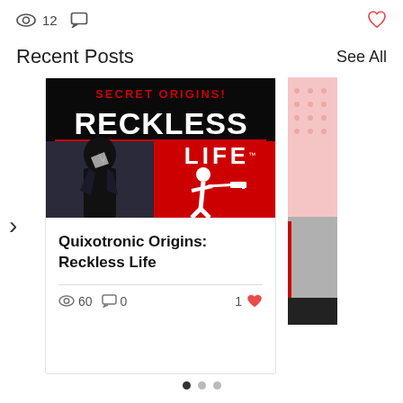👁 12  💬  ♡
Recent Posts    See All
[Figure (illustration): Comic book cover art for 'Secret Origins: Reckless Life' showing an anime-style character on the left in dark armor and a white silhouette figure with a gun on a red background on the right, with bold red and white title text.]
Quixotronic Origins: Reckless Life
60  0  1 ♡
[Figure (illustration): Partially visible second post card showing a red and grey comic-style image on the right edge of the screen.]